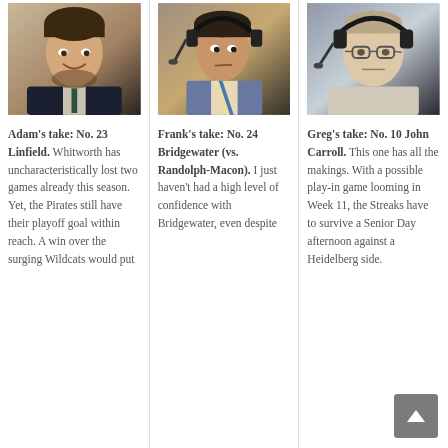[Figure (photo): Headshot of Adam, a smiling young man in a suit and tie]
Adam’s take: No. 23 Linfield. Whitworth has uncharacteristically lost two games already this season. Yet, the Pirates still have their playoff goal within reach. A win over the surging Wildcats would put
[Figure (photo): Photo of Frank, a man wearing a headset/earphones, looking sideways]
Frank’s take: No. 24 Bridgewater (vs. Randolph-Macon). I just haven’t had a high level of confidence with Bridgewater, even despite
[Figure (photo): Photo of Greg, a man wearing glasses and a broadcast headset]
Greg’s take: No. 10 John Carroll. This one has all the makings. With a possible play-in game looming in Week 11, the Streaks have to survive a Senior Day afternoon against a Heidelberg side.